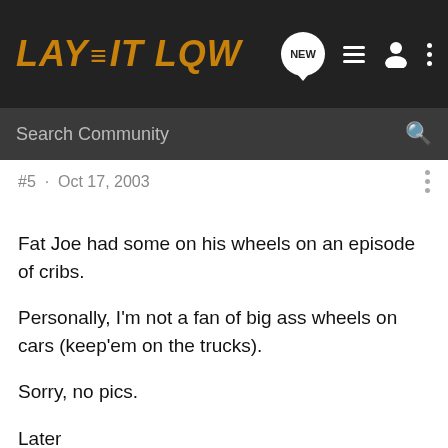LAY IT LOW
Search Community
#5 · Oct 17, 2003
Fat Joe had some on his wheels on an episode of cribs.

Personally, I'm not a fan of big ass wheels on cars (keep'em on the trucks).

Sorry, no pics.

Later
TC
If you ha
[Figure (screenshot): Advertisement for The New 2022 Silverado by Chevrolet, showing a Silverado truck in a green outdoor setting with an Explore button.]